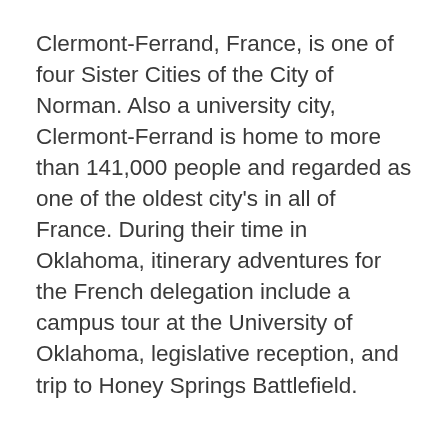Clermont-Ferrand, France, is one of four Sister Cities of the City of Norman. Also a university city, Clermont-Ferrand is home to more than 141,000 people and regarded as one of the oldest city's in all of France. During their time in Oklahoma, itinerary adventures for the French delegation include a campus tour at the University of Oklahoma, legislative reception, and trip to Honey Springs Battlefield.
In addition to regular Sister Cities visits, the City of Norman and Clermont-Ferrand have also coordinated student/teacher exchanges and artist residencies between both communities to foster unique and inspiring opportunities.